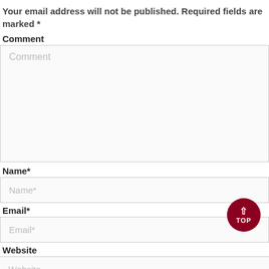Your email address will not be published. Required fields are marked *
Comment
Comment
Name*
Name*
Email*
Email*
Website
Website